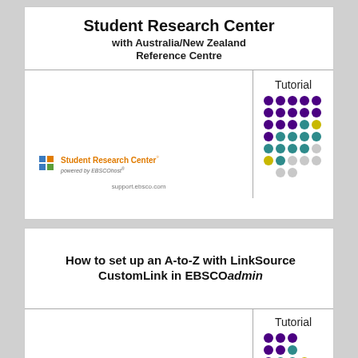Student Research Center with Australia/New Zealand Reference Centre
Tutorial
[Figure (illustration): Student Research Center logo with colored square icon and 'powered by EBSCOhost' text]
[Figure (illustration): Decorative dot grid pattern in purple, teal, yellow, and grey colors]
support.ebsco.com
How to set up an A-to-Z with LinkSource CustomLink in EBSCOadmin
Tutorial
[Figure (illustration): Decorative dot grid pattern in purple, teal, yellow, and grey colors]